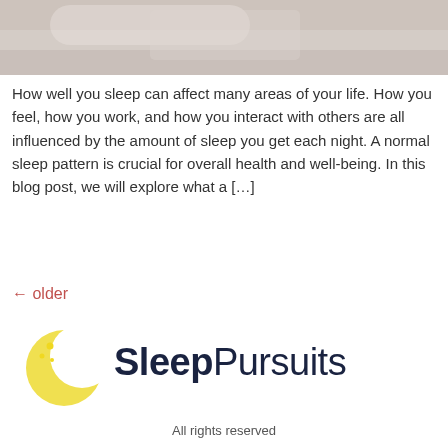[Figure (photo): Person sleeping on a bed with white/beige linens, top portion of body and face partially visible]
How well you sleep can affect many areas of your life. How you feel, how you work, and how you interact with others are all influenced by the amount of sleep you get each night. A normal sleep pattern is crucial for overall health and well-being. In this blog post, we will explore what a […]
← older
[Figure (logo): SleepPursuits logo with a yellow crescent moon icon on the left and the text SleepPursuits in dark navy]
All rights reserved